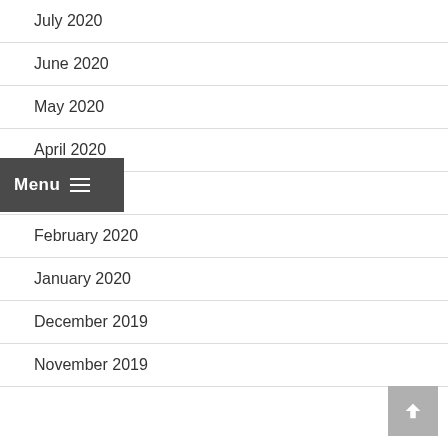July 2020
June 2020
May 2020
April 2020
March 2020
February 2020
January 2020
December 2019
November 2019